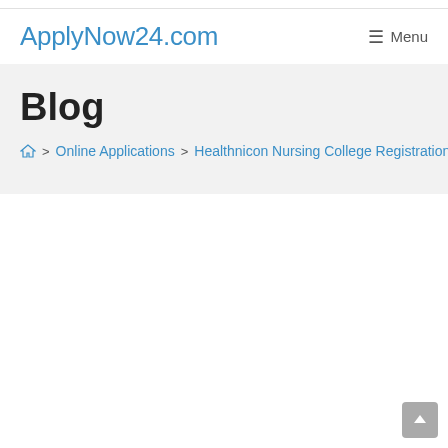ApplyNow24.com
Blog
Home > Online Applications > Healthnicon Nursing College Registration D